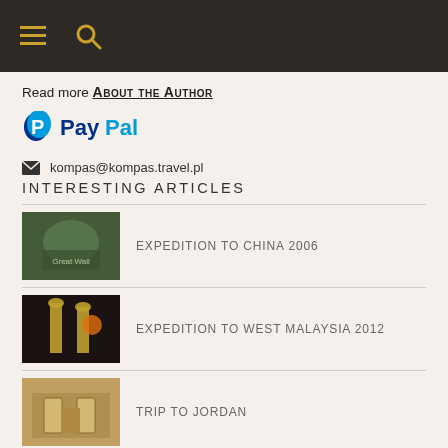Navigation bar with hamburger menu and search icon
Read more ABOUT THE AUTHOR
[Figure (logo): PayPal logo with blue P icon and PayPal wordmark]
✉ kompas@kompas.travel.pl
INTERESTING ARTICLES
EXPEDITION TO CHINA 2006
EXPEDITION TO WEST MALAYSIA 2012
TRIP TO JORDAN
TRIP TO THAILAND 2011